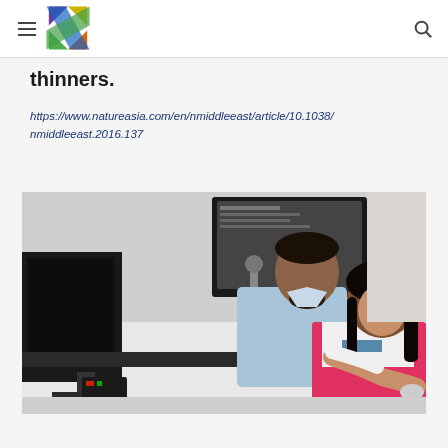Nature Asia navigation header with logo and search icon
thinners.
https://www.natureasia.com/en/nmiddleeast/article/10.1038/nmiddleeast.2016.137
[Figure (photo): Two researchers working at a computer workstation in a laboratory setting. A man in a light blue shirt leans over to look at a monitor, while a woman in a pink/white top sits at the desk using a mouse. Lab equipment visible in the background.]